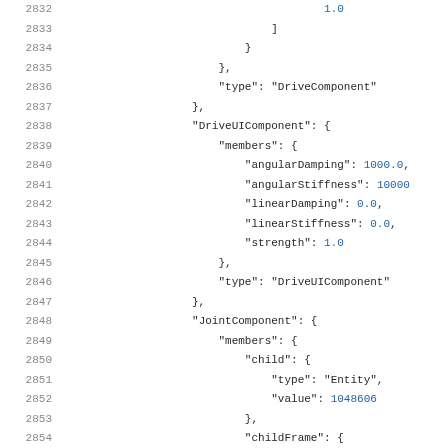Code listing lines 2832-2854 showing JSON structure with DriveComponent, DriveUIComponent, and JointComponent data